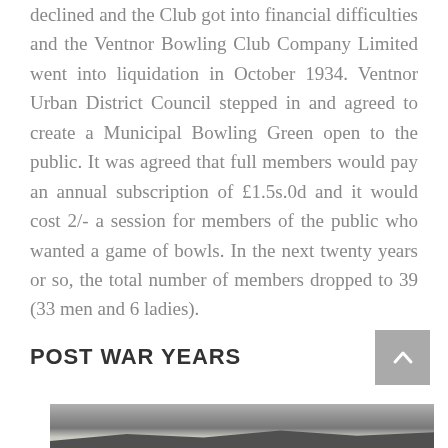declined and the Club got into financial difficulties and the Ventnor Bowling Club Company Limited went into liquidation in October 1934. Ventnor Urban District Council stepped in and agreed to create a Municipal Bowling Green open to the public. It was agreed that full members would pay an annual subscription of £1.5s.0d and it would cost 2/- a session for members of the public who wanted a game of bowls. In the next twenty years or so, the total number of members dropped to 39 (33 men and 6 ladies).
POST WAR YEARS
[Figure (photo): Black and white historical photograph showing a hillside landscape with buildings/houses visible at the bottom and trees and hills in the background.]